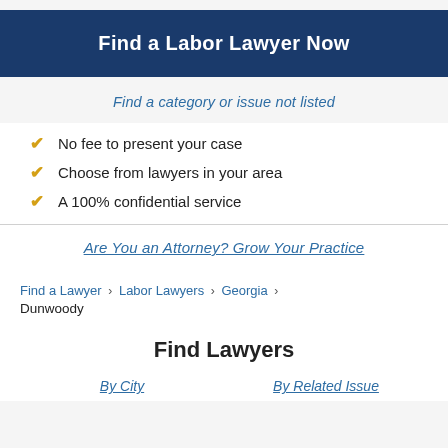Find a Labor Lawyer Now
Find a category or issue not listed
No fee to present your case
Choose from lawyers in your area
A 100% confidential service
Are You an Attorney? Grow Your Practice
Find a Lawyer > Labor Lawyers > Georgia > Dunwoody
Find Lawyers
By City   By Related Issue